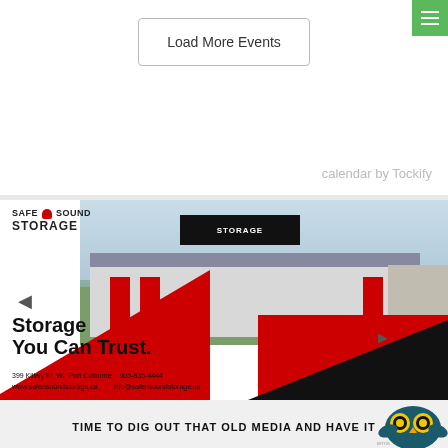Load More Events
calendar by Tockify
[Figure (photo): Safe N Sound Storage advertisement with aerial photo of a large white and grey storage facility building with red doors and 'STORAGE' sign, red diagonal graphic elements, company logo, tagline 'Storage You Can Trust.', address '399 Killaly St. W., Port Colborne', phone '905-835-4444', website 'www.safensoundstorage.ca', email 'info@safensoundstorage.ca']
TIME TO DIG OUT THAT OLD MEDIA AND HAVE IT